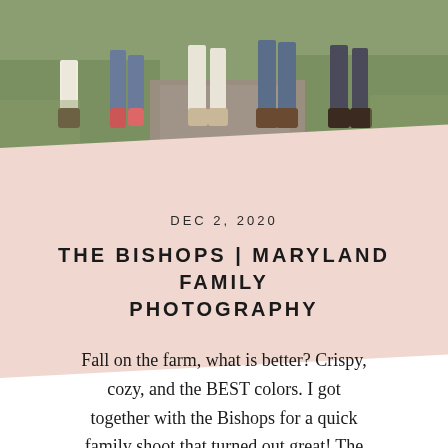[Figure (photo): Outdoor family photo showing legs and feet of multiple people walking on a gravel path with grass on both sides. Various footwear visible including boots, sneakers, and dress shoes.]
DEC 2, 2020
THE BISHOPS | MARYLAND FAMILY PHOTOGRAPHY
Fall on the farm, what is better? Crispy, cozy, and the BEST colors. I got together with the Bishops for a quick family shoot that turned out great! The